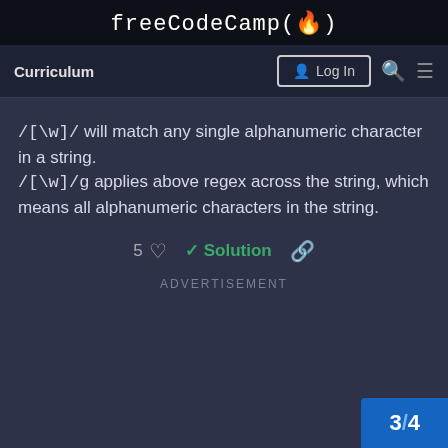freeCodeCamp(🔥)
Curriculum
/[\w]/ will match any single alphanumeric character in a string. /[\w]/g applies above regex across the string, which means all alphanumeric characters in the string.
5 ♡  ✓ Solution  🔗
ADVERTISEMENT
3 / 4